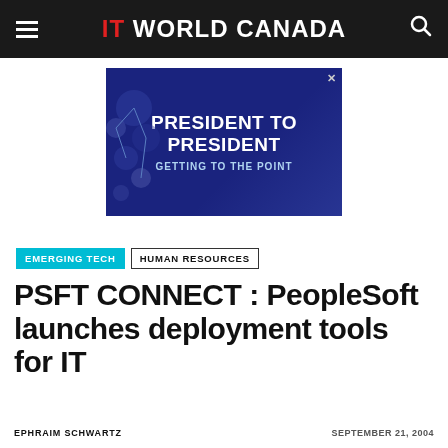IT WORLD CANADA
[Figure (illustration): Advertisement banner with dark blue background reading PRESIDENT TO PRESIDENT GETTING TO THE POINT]
EMERGING TECH   HUMAN RESOURCES
PSFT CONNECT : PeopleSoft launches deployment tools for IT
EPHRAIM SCHWARTZ   SEPTEMBER 21, 2004